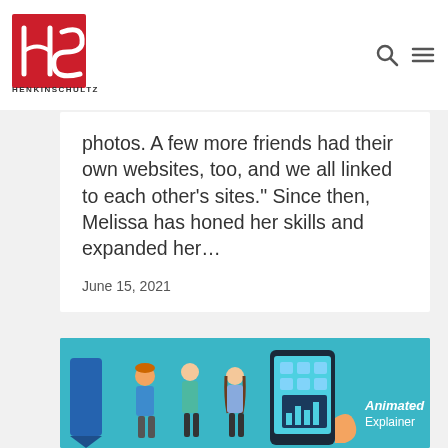HENKINSCHULTZ
photos. A few more friends had their own websites, too, and we all linked to each other's sites.” Since then, Melissa has honed her skills and expanded her…
June 15, 2021
[Figure (illustration): Animated Explainer Video illustration showing cartoon people and a smartphone interface with teal background. 'Animated Explainer' text overlay in white.]